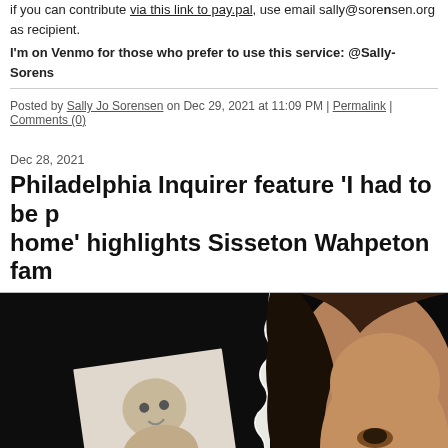If you can contribute via this link to pay.pal, use email sally@sorensen.org as recipient.
I'm on Venmo for those who prefer to use this service: @Sally-Sorens
Posted by Sally Jo Sorensen on Dec 29, 2021 at 11:09 PM | Permalink | Comments (0)
Dec 28, 2021
Philadelphia Inquirer feature 'I had to be home' highlights Sisseton Wahpeton fam
[Figure (photo): A dramatic split photograph showing a baby photo on the left dark side and a woman's face close-up on the right, with a torn paper effect down the middle]